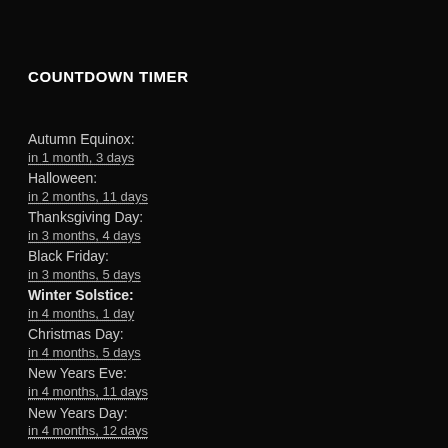COUNTDOWN TIMER
Autumn Equinox:
in 1 month, 3 days
Halloween:
in 2 months, 11 days
Thanksgiving Day:
in 3 months, 4 days
Black Friday:
in 3 months, 5 days
Winter Solstice:
in 4 months, 1 day
Christmas Day:
in 4 months, 5 days
New Years Eve:
in 4 months, 11 days
New Years Day:
in 4 months, 12 days